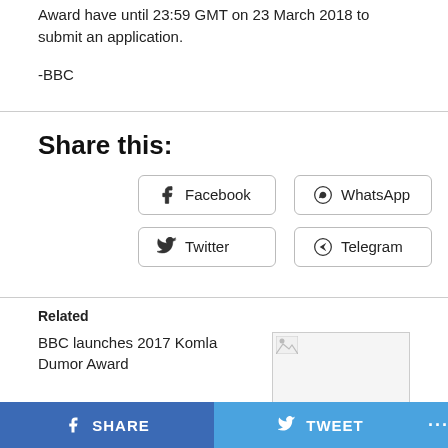Award have until 23:59 GMT on 23 March 2018 to submit an application.
-BBC
Share this:
Facebook
WhatsApp
Twitter
Telegram
Related
BBC launches 2017 Komla Dumor Award
[Figure (photo): Broken image placeholder for related article thumbnail]
SHARE   TWEET   ...